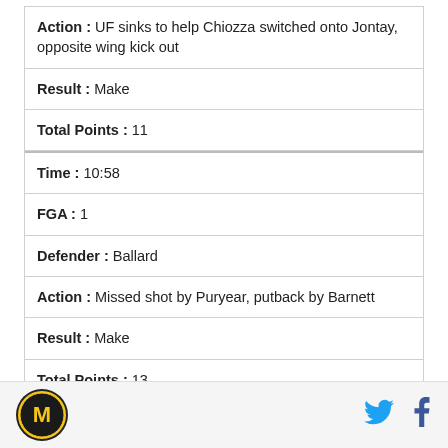| Action | UF sinks to help Chiozza switched onto Jontay, opposite wing kick out |
| Result | Make |
| Total Points | 11 |
| Time | 10:58 |
| FGA | 1 |
| Defender | Ballard |
| Action | Missed shot by Puryear, putback by Barnett |
| Result | Make |
| Total Points | 13 |
| Time | 9:15 |
[Figure (logo): Missouri M logo circle]